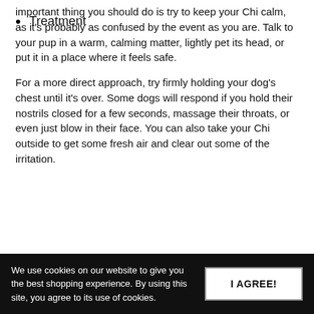important thing you should do is try to keep your Chi calm, as it's probably as confused by the event as you are. Talk to your pup in a warm, calming matter, lightly pet its head, or put it in a place where it feels safe.
For a more direct approach, try firmly holding your dog's chest until it's over. Some dogs will respond if you hold their nostrils closed for a few seconds, massage their throats, or even just blow in their face. You can also take your Chi outside to get some fresh air and clear out some of the irritation.
Treatment
We use cookies on our website to give you the best shopping experience. By using this site, you agree to its use of cookies.